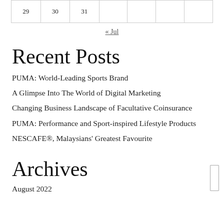| 29 | 30 | 31 |  |  |  |  |
« Jul
Recent Posts
PUMA: World-Leading Sports Brand
A Glimpse Into The World of Digital Marketing
Changing Business Landscape of Facultative Coinsurance
PUMA: Performance and Sport-inspired Lifestyle Products
NESCAFE®, Malaysians' Greatest Favourite
Archives
August 2022